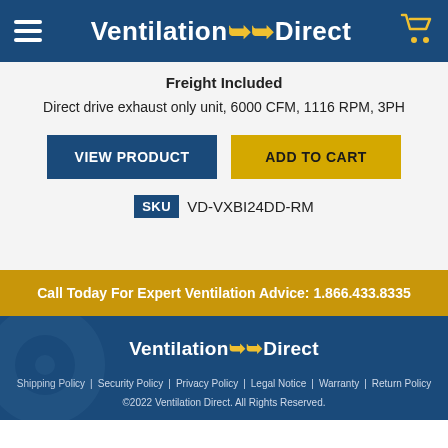Ventilation Direct
Freight Included
Direct drive exhaust only unit, 6000 CFM, 1116 RPM, 3PH
VIEW PRODUCT | ADD TO CART
SKU VD-VXBI24DD-RM
Call Today For Expert Ventilation Advice: 1.866.433.8335
Ventilation Direct
Shipping Policy | Security Policy | Privacy Policy | Legal Notice | Warranty | Return Policy
©2022 Ventilation Direct. All Rights Reserved.